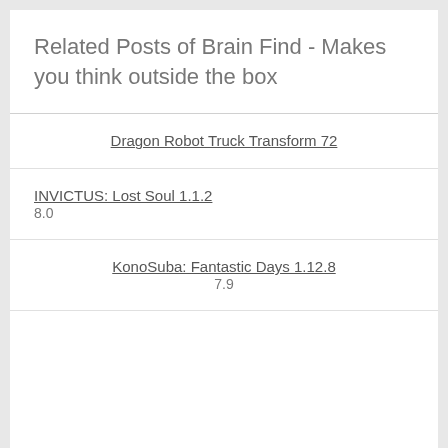Related Posts of Brain Find - Makes you think outside the box
Dragon Robot Truck Transform 72
INVICTUS: Lost Soul 1.1.2
8.0
KonoSuba: Fantastic Days 1.12.8
7.9